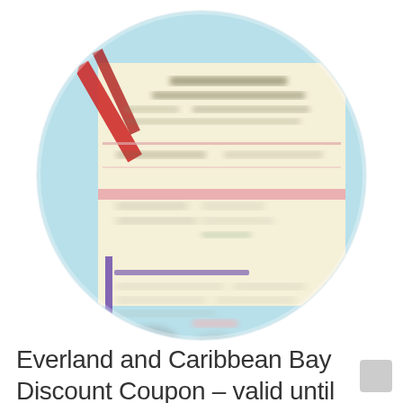[Figure (photo): A blurred circular thumbnail image showing what appears to be a discount coupon or ticket document with text in Korean/English, red and purple accents, on a light blue background. The image is cropped into a circle shape.]
Everland and Caribbean Bay Discount Coupon – valid until